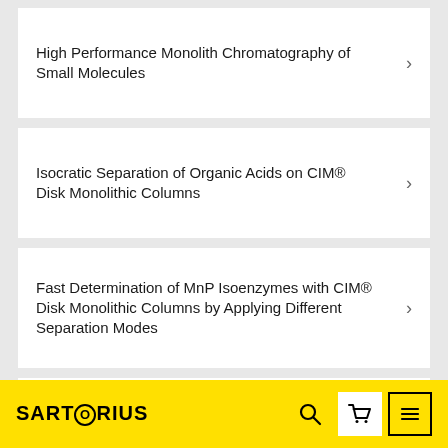High Performance Monolith Chromatography of Small Molecules
Isocratic Separation of Organic Acids on CIM® Disk Monolithic Columns
Fast Determination of MnP Isoenzymes with CIM® Disk Monolithic Columns by Applying Different Separation Modes
Fast Determination of Lignin Peroxidase Isoenzymes Composition Using CIM® Disk Monolithic Col...
SARTORIUS